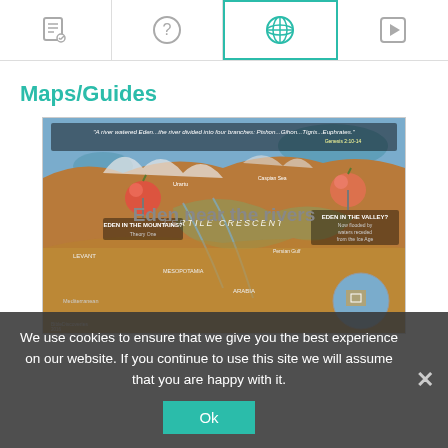Navigation bar with icons: notes/edit, help, maps/globe (active), play
Maps/Guides
[Figure (map): Satellite aerial map of the Middle East / Fertile Crescent region with two apple pin markers labeled 'EDEN IN THE MOUNTAINS?' and 'EDEN IN THE VALLEY?' and text quote: 'A river watered Eden...the river divided into four branches: Pishon...Gihon...Tigris...Euphrates.' Genesis 2:10-14. Labels include FERTILE CRESCENT, various geographic locations.]
Eden near the rivers
We use cookies to ensure that we give you the best experience on our website. If you continue to use this site we will assume that you are happy with it.